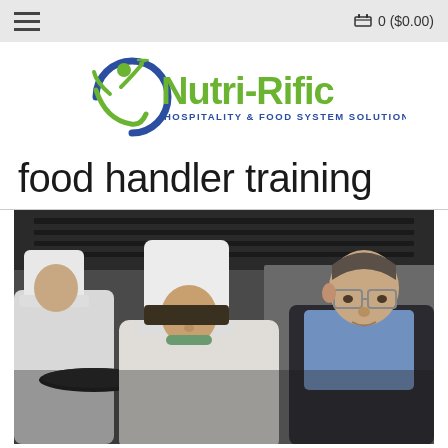☰   🛒 0 ($0.00)
[Figure (logo): Nutri-Rific Hospitality & Food System Solutions logo with a circular blue arc and green figure holding a fork, alongside green stylized text 'Nutri-Rific' and blue subtitle 'HOSPITALITY & FOOD SYSTEM SOLUTIONS']
food handler training
[Figure (photo): Two chefs in white uniforms and tall white chef hats leaning over a kitchen workspace, being supervised by an older man in a dark suit with glasses, in a professional restaurant kitchen setting]